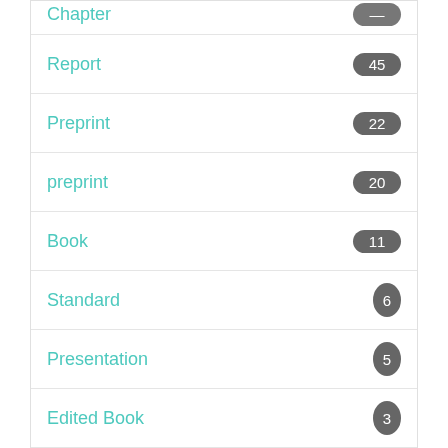Chapter
Report 45
Preprint 22
preprint 20
Book 11
Standard 6
Presentation 5
Edited Book 3
next >
Copyright Status
Closed Access 3192